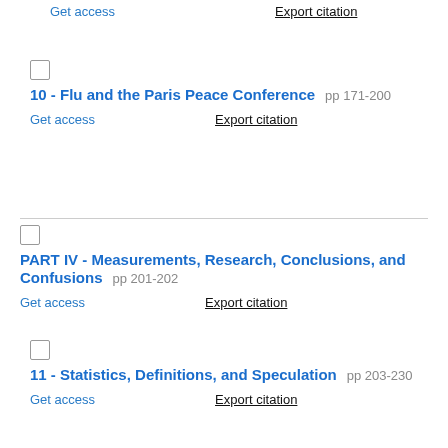Get access   Export citation
10 - Flu and the Paris Peace Conference   pp 171-200
Get access   Export citation
PART IV - Measurements, Research, Conclusions, and Confusions   pp 201-202
Get access   Export citation
11 - Statistics, Definitions, and Speculation   pp 203-230
Get access   Export citation